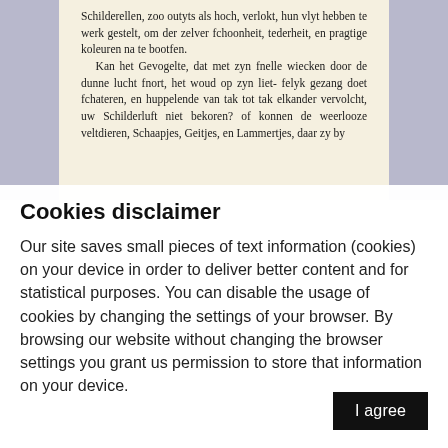[Figure (photo): Scanned page of an old Dutch book with text in serif font on yellowed paper, set against a purple-grey background. Text reads partial sentences about Schilderellen, Gevogelte, and Schaapjes, Geitjes, en Lammertjes.]
Cookies disclaimer
Our site saves small pieces of text information (cookies) on your device in order to deliver better content and for statistical purposes. You can disable the usage of cookies by changing the settings of your browser. By browsing our website without changing the browser settings you grant us permission to store that information on your device.